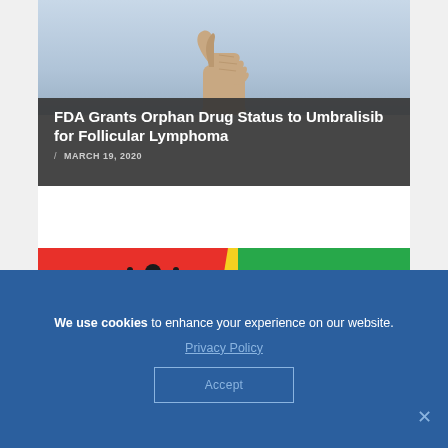[Figure (photo): Photo of a hand giving a thumbs up gesture against a light blue/grey background, partially cropped]
FDA Grants Orphan Drug Status to Umbralisib for Follicular Lymphoma
/ MARCH 19, 2020
[Figure (photo): Colorful image with red, yellow, and green sections showing a silhouette of a person in a yoga/meditation pose with arms raised]
We use cookies to enhance your experience on our website.
Privacy Policy
Accept